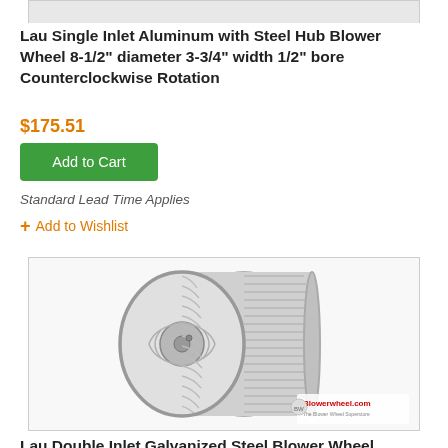[Figure (photo): Partial top image strip of a blower wheel product photo cropped at the top]
Lau Single Inlet Aluminum with Steel Hub Blower Wheel 8-1/2" diameter 3-3/4" width 1/2" bore Counterclockwise Rotation
$175.51
Add to Cart
Standard Lead Time Applies
+ Add to Wishlist
[Figure (photo): Photo of a Lau Double Inlet Galvanized Steel Blower Wheel — cylindrical metal blower wheel with radial blades, viewed from a 3/4 angle, with Blowerwheel.com watermark logo in bottom-right corner]
Lau Double Inlet Galvanized Steel Blower Wheel 10-5/8" diameter 8-1/2" width 3/4" bore